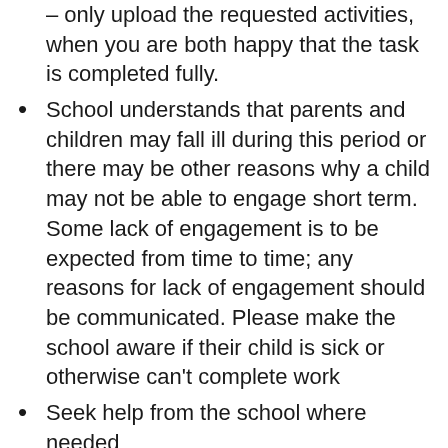– only upload the requested activities, when you are both happy that the task is completed fully.
School understands that parents and children may fall ill during this period or there may be other reasons why a child may not be able to engage short term. Some lack of engagement is to be expected from time to time; any reasons for lack of engagement should be communicated. Please make the school aware if their child is sick or otherwise can't complete work
Seek help from the school where needed
School expects families to be respectful of staff well-being and to understand that a response to communications should not be expected outside of the hours of a reasonable working day.